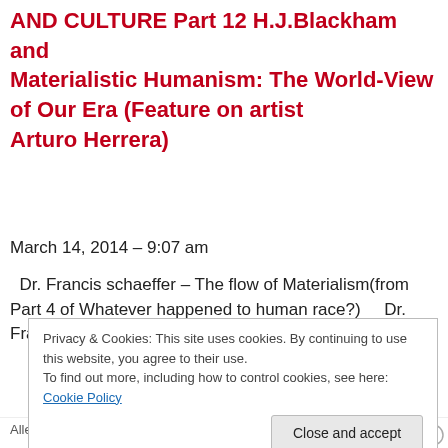AND CULTURE Part 12 H.J.Blackham and Materialistic Humanism: The World-View of Our Era (Feature on artist Arturo Herrera)
March 14, 2014 – 9:07 am
Dr. Francis schaeffer – The flow of Materialism(from Part 4 of Whatever happened to human race?)    Dr. Francis
Privacy & Cookies: This site uses cookies. By continuing to use this website, you agree to their use.
To find out more, including how to control cookies, see here: Cookie Policy
[Close and accept]
Allen | Tagged Arturo Herrera Book of Ecclesiaste, Cosmological